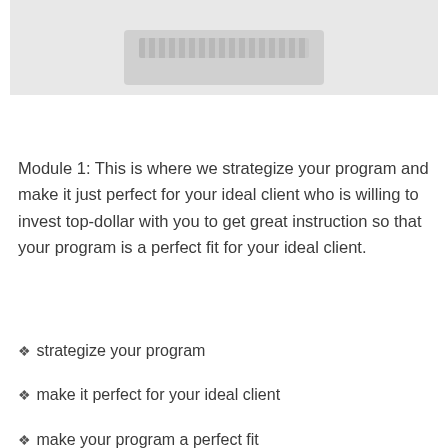[Figure (photo): Top portion of a photo showing a keyboard/computer setup on a light gray background, partially cropped]
Module 1: This is where we strategize your program and make it just perfect for your ideal client who is willing to invest top-dollar with you to get great instruction so that your program is a perfect fit for your ideal client.
✦ strategize your program
✦ make it perfect for your ideal client
✦ make your program a perfect fit